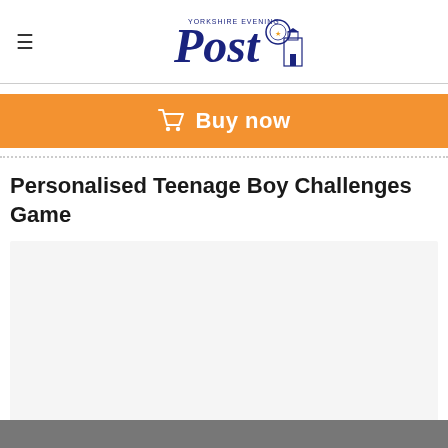Yorkshire Evening Post — hamburger menu + logo
Buy now
Personalised Teenage Boy Challenges Game
[Figure (photo): Product image placeholder — light grey rectangle]